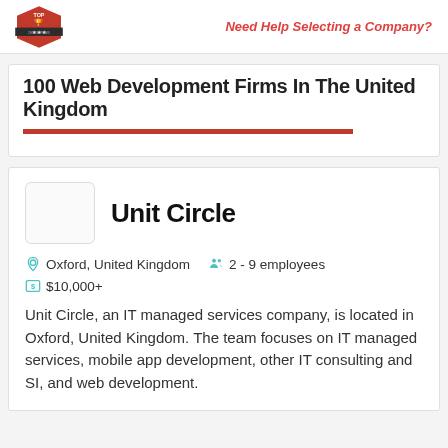Need Help Selecting a Company?
100 Web Development Firms In The United Kingdom
Unit Circle
Oxford, United Kingdom   2 - 9 employees
$10,000+
Unit Circle, an IT managed services company, is located in Oxford, United Kingdom. The team focuses on IT managed services, mobile app development, other IT consulting and SI, and web development.